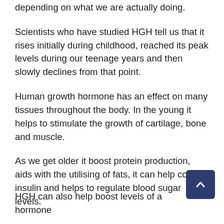depending on what we are actually doing.
Scientists who have studied HGH tell us that it rises initially during childhood, reached its peak levels during our teenage years and then slowly declines from that point.
Human growth hormone has an effect on many tissues throughout the body. In the young it helps to stimulate the growth of cartilage, bone and muscle.
As we get older it boost protein production, aids with the utilising of fats, it can help control insulin and helps to regulate blood sugar levels.
HGH can also help boost levels of a hormone